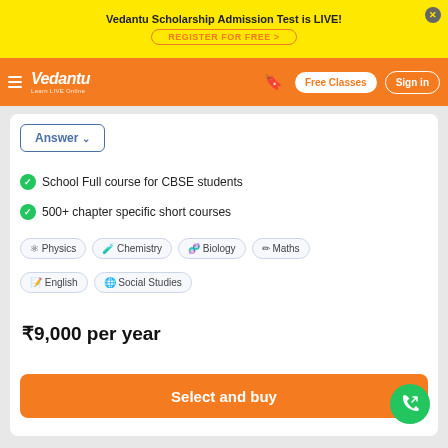Vedantu Scholarship Admission Test is LIVE!
REGISTER FOR FREE >
Vedantu — Free Classes | Sign in
Answer
School Full course for CBSE students
500+ chapter specific short courses
Physics  Chemistry  Biology  Maths  English  Social Studies
₹9,000 per year
Select and buy